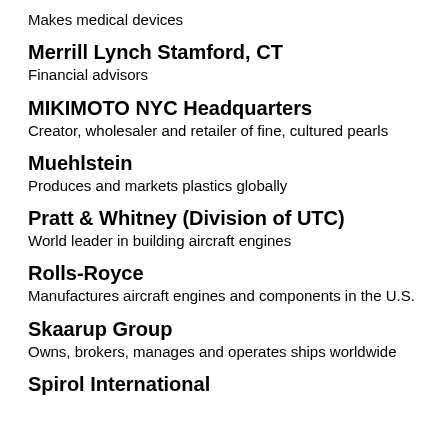Makes medical devices
Merrill Lynch Stamford, CT
Financial advisors
MIKIMOTO NYC Headquarters
Creator, wholesaler and retailer of fine, cultured pearls
Muehlstein
Produces and markets plastics globally
Pratt & Whitney (Division of UTC)
World leader in building aircraft engines
Rolls-Royce
Manufactures aircraft engines and components in the U.S.
Skaarup Group
Owns, brokers, manages and operates ships worldwide
Spirol International